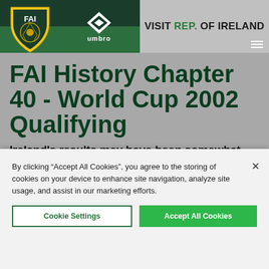[Figure (logo): FAI (Football Association of Ireland) crest logo with umbro sponsor logo on dark green header background]
VISIT REP. OF IRELAND
FAI History Chapter 40 - World Cup 2002 Qualifying
Ireland's results may have been somewhat mixed over the previous six months but
By clicking “Accept All Cookies”, you agree to the storing of cookies on your device to enhance site navigation, analyze site usage, and assist in our marketing efforts.
Cookie Settings
Accept All Cookies